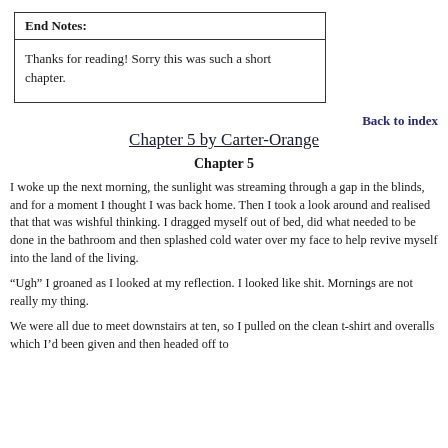| End Notes: |
| --- |
| Thanks for reading!  Sorry this was such a short chapter. |
Back to index
Chapter 5 by Carter-Orange
Chapter 5
I woke up the next morning, the sunlight was streaming through a gap in the blinds, and for a moment I thought I was back home. Then I took a look around and realised that that was wishful thinking. I dragged myself out of bed, did what needed to be done in the bathroom and then splashed cold water over my face to help revive myself into the land of the living.
“Ugh” I groaned as I looked at my reflection. I looked like shit. Mornings are not really my thing.
We were all due to meet downstairs at ten, so I pulled on the clean t-shirt and overalls which I’d been given and then headed off to